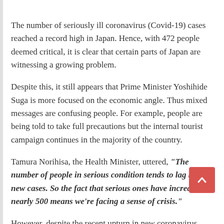The number of seriously ill coronavirus (Covid-19) cases reached a record high in Japan. Hence, with 472 people deemed critical, it is clear that certain parts of Japan are witnessing a growing problem.
Despite this, it still appears that Prime Minister Yoshihide Suga is more focused on the economic angle. Thus mixed messages are confusing people. For example, people are being told to take full precautions but the internal tourist campaign continues in the majority of the country.
Tamura Norihisa, the Health Minister, uttered, "The number of people in serious condition tends to lag behind new cases. So the fact that serious ones have increased to nearly 500 means we're facing a sense of crisis."
However, despite the recent upturn in new coronavirus cases, it is apparent that Suga seeks to keep the economy ticking during the ongoing crisis. He said, "The government is doing everything it can to protect jobs and